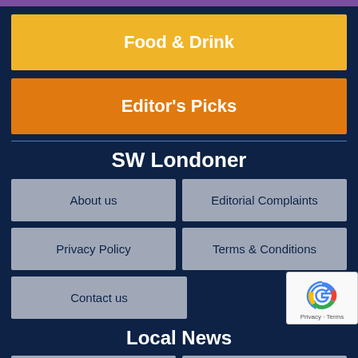Food & Drink
Editor's Picks
SW Londoner
About us
Editorial Complaints
Privacy Policy
Terms & Conditions
Contact us
Local News
Hammersmith & Fulham
Kensington & Chelsea